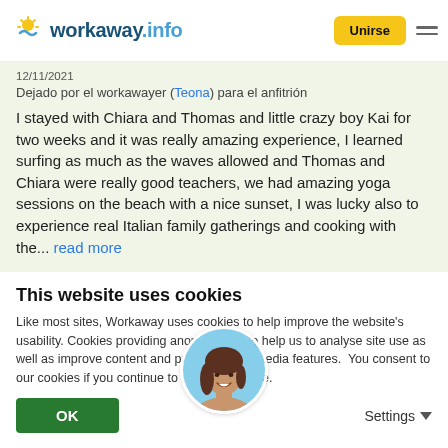workaway.info — Unirse
12/11/2021
Dejado por el workawayer (Teona) para el anfitrión
I stayed with Chiara and Thomas and little crazy boy Kai for two weeks and it was really amazing experience, I learned surfing as much as the waves allowed and Thomas and Chiara were really good teachers, we had amazing yoga sessions on the beach with a nice sunset, I was lucky also to experience real Italian family gatherings and cooking with the... read more
[Figure (photo): Circular profile photo of a smiling young woman with long dark hair, outdoors with blue sky background]
This website uses cookies
Like most sites, Workaway uses cookies to help improve the website's usability. Cookies providing anonymous info help us to analyse site use as well as improve content and present social media features.  You consent to our cookies if you continue to use our website.
OK
Settings